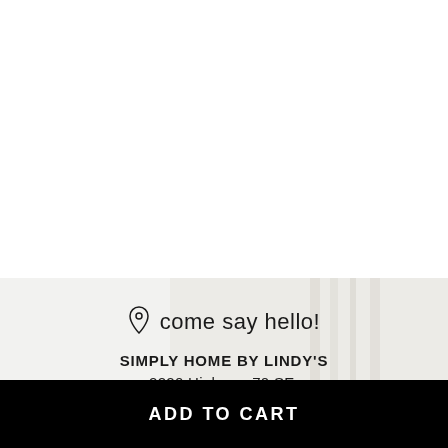[Figure (illustration): White empty space at top of advertisement]
Advertisement
come say hello!
SIMPLY HOME BY LINDY'S
2220 Highway 70 SE,
ADD TO CART